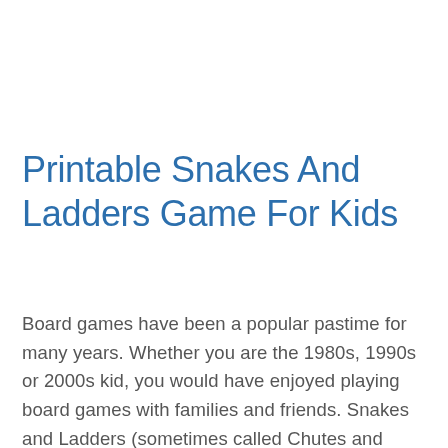Printable Snakes And Ladders Game For Kids
Board games have been a popular pastime for many years. Whether you are the 1980s, 1990s or 2000s kid, you would have enjoyed playing board games with families and friends. Snakes and Ladders (sometimes called Chutes and Ladders) is one of the most popular board games of all time. What makes it popular is that it is a board game with 100 squares full of tricks and